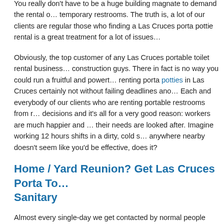You really don't have to be a huge building magnate to demand the rental of temporary restrooms. The truth is, a lot of our clients are regular those who finding a Las Cruces porta pottie rental is a great treatment for a lot of issues.
Obviously, the top customer of any Las Cruces portable toilet rental business construction guys. There in fact is no way you could run a fruitful and powerful renting porta potties in Las Cruces certainly not without failing deadlines and. Each and everybody of our clients who are renting portable restrooms from decisions and it's all for a very good reason: workers are much happier and their needs are looked after. Imagine working 12 hours shifts in a dirty, cold s anywhere nearby doesn't seem like you'd be effective, does it?
Home / Yard Reunion? Get Las Cruces Porta To... Sanitary
Almost every single-day we get contacted by normal people who have to rem New Mexico for a home party. Perhaps you're usually the one who took it up next family reunion. Clearly, you don't need all of your third cousins to walk-a for a bathroom, therefore acquiring our help is surely a wise decision. All thin to commit the entire next day cleaning-up!
However the best part relating to this idea is the fact that everyone else will start, it's an originality and many people haven't used this type of bathroom...